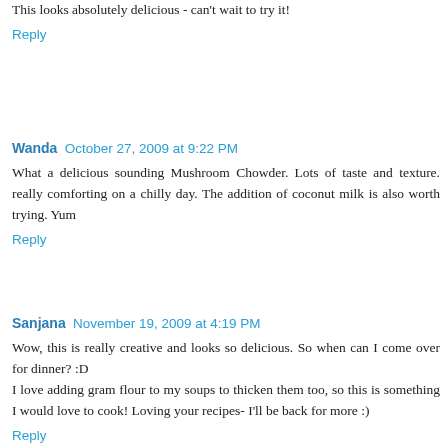This looks absolutely delicious - can't wait to try it!
Reply
Wanda  October 27, 2009 at 9:22 PM
What a delicious sounding Mushroom Chowder. Lots of taste and texture. really comforting on a chilly day. The addition of coconut milk is also worth trying. Yum
Reply
Sanjana  November 19, 2009 at 4:19 PM
Wow, this is really creative and looks so delicious. So when can I come over for dinner? :D
I love adding gram flour to my soups to thicken them too, so this is something I would love to cook! Loving your recipes- I'll be back for more :)
Reply